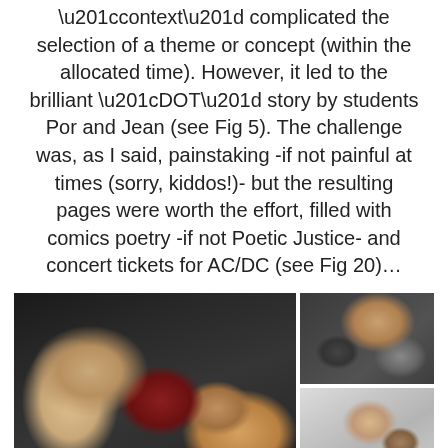“context” complicated the selection of a theme or concept (within the allocated time). However, it led to the brilliant “DOT” story by students Por and Jean (see Fig 5). The challenge was, as I said, painstaking -if not painful at times (sorry, kiddos!)- but the resulting pages were worth the effort, filled with comics poetry -if not Poetic Justice- and concert tickets for AC/DC (see Fig 20)…
[Figure (photo): Left photo: students leaning over a table working on comic/drawing pages together. Right top photo: a student with glasses examining a comic page. Right bottom photo: another student working on a page.]